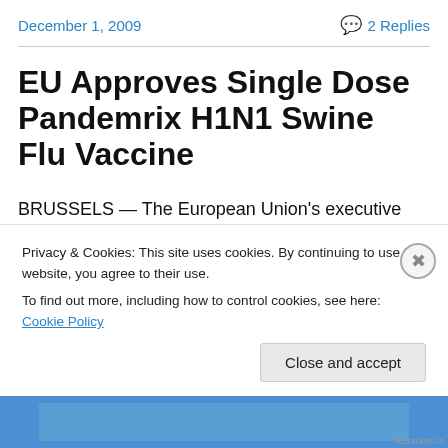December 1, 2009    💬 2 Replies
EU Approves Single Dose Pandemrix H1N1 Swine Flu Vaccine
BRUSSELS — The European Union's executive commission says it has approved single doses of two swine flu vaccines that could speed up winter vaccinations. The European Commission has also...
Privacy & Cookies: This site uses cookies. By continuing to use this website, you agree to their use.
To find out more, including how to control cookies, see here: Cookie Policy
Close and accept